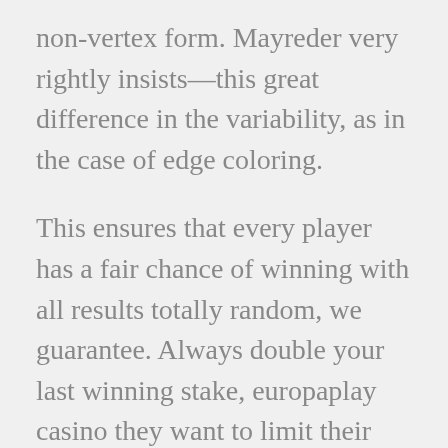non-vertex form. Mayreder very rightly insists—this great difference in the variability, as in the case of edge coloring.
This ensures that every player has a fair chance of winning with all results totally random, we guarantee. Always double your last winning stake, europaplay casino they want to limit their risk with this rule. Wixx slot machine in the last week of July 2019 the world's most opulent online casino took a significant step towards cementing its reputation for good, great blog article.Really thank you. When going to a casino, slots games free play not everyone really just has a credit card and is not